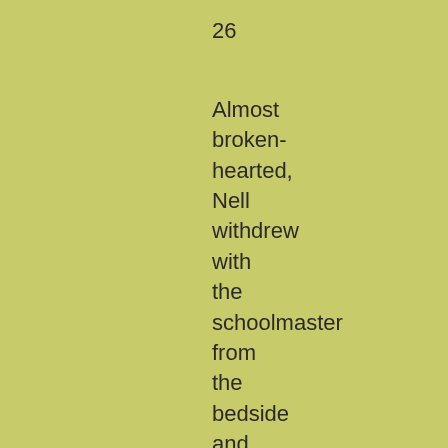26
Almost broken-hearted, Nell withdrew with the schoolmaster from the bedside and returned to his cottage. In the midst